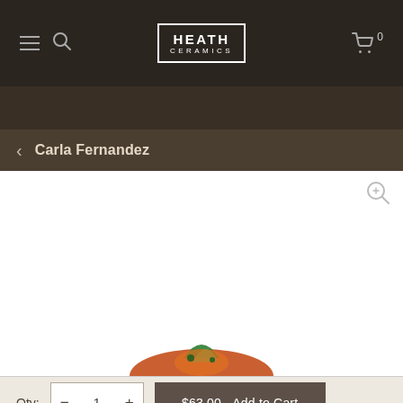HEATH CERAMICS
Carla Fernandez
[Figure (photo): Product photo area - white space showing a colorful ceramic or decorative object partially visible at bottom]
Qty: 1
$63.00 - Add to Cart